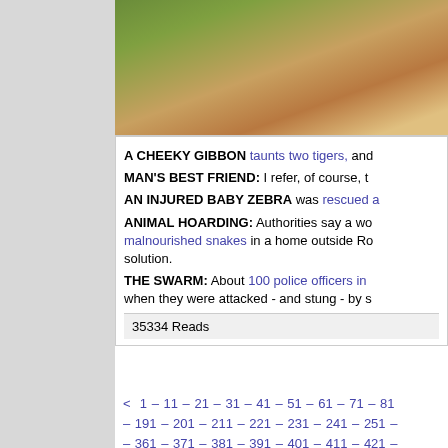[Figure (photo): Partial photo visible at top right — appears to be an outdoor wildlife/nature scene with greenery and brown tones, likely showing animals in a jungle or forest setting.]
A CHEEKY GIBBON taunts two tigers, and…
MAN'S BEST FRIEND:  I refer, of course, t…
AN INJURED BABY ZEBRA was rescued a…
ANIMAL HOARDING:  Authorities say a wo… malnourished snakes in a home outside Ro… solution.
THE SWARM:  About 100 police officers in… when they were attacked - and stung - by s…
35334 Reads
< 1 – 11 – 21 – 31 – 41 – 51 – 61 – 71 – 81 – 191 – 201 – 211 – 221 – 231 – 241 – 251 – – 361 – 371 – 381 – 391 – 401 – 411 – 421 – – 531 – 541 – 551 – 561 – 571 – 581 – 591 – – 701 – 711 – 721 – 722 – 723 – 724 – 725 – – 736 – 737 – 738 – 739 – 740 – 741 – 742 –